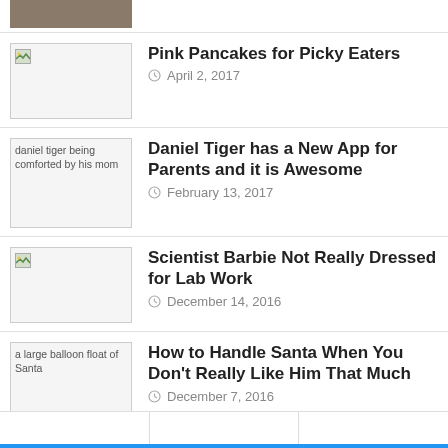[Figure (photo): Partial top image, cropped at top of page]
[Figure (photo): Broken image placeholder for Pink Pancakes article thumbnail]
Pink Pancakes for Picky Eaters
April 2, 2017
[Figure (photo): daniel tiger being comforted by his mom]
Daniel Tiger has a New App for Parents and it is Awesome
February 13, 2017
[Figure (photo): Broken image placeholder for Scientist Barbie article thumbnail]
Scientist Barbie Not Really Dressed for Lab Work
December 14, 2016
[Figure (photo): a large balloon float of Santa]
How to Handle Santa When You Don't Really Like Him That Much
December 7, 2016